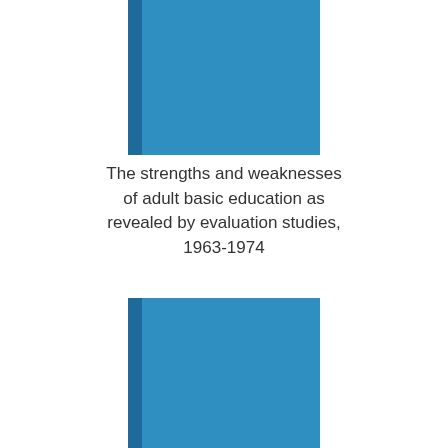[Figure (illustration): Top portion of two blue book covers with darker spines on the left side, one at the top of the page and one at the bottom]
The strengths and weaknesses of adult basic education as revealed by evaluation studies, 1963-1974